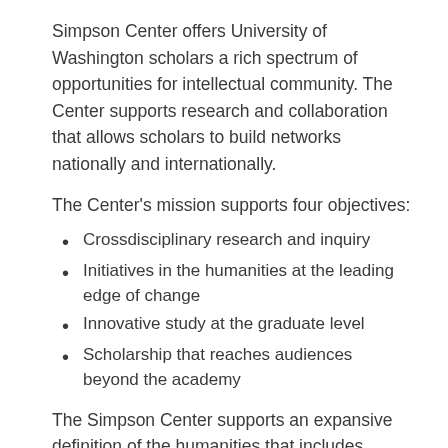Simpson Center offers University of Washington scholars a rich spectrum of opportunities for intellectual community. The Center supports research and collaboration that allows scholars to build networks nationally and internationally.
The Center's mission supports four objectives:
Crossdisciplinary research and inquiry
Initiatives in the humanities at the leading edge of change
Innovative study at the graduate level
Scholarship that reaches audiences beyond the academy
The Simpson Center supports an expansive definition of the humanities that includes